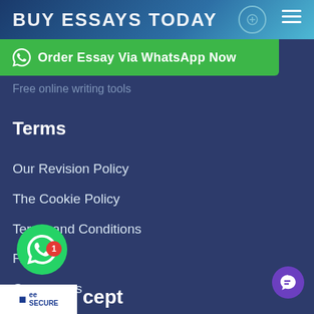BUY ESSAYS TODAY
Order Essay Via WhatsApp Now
Free online writing tools
Terms
Our Revision Policy
The Cookie Policy
Terms and Conditions
F.A.Qs
Guarantees
Progressive Delivery
Plagiarism-Free Guarantee
ee SECURE
cept